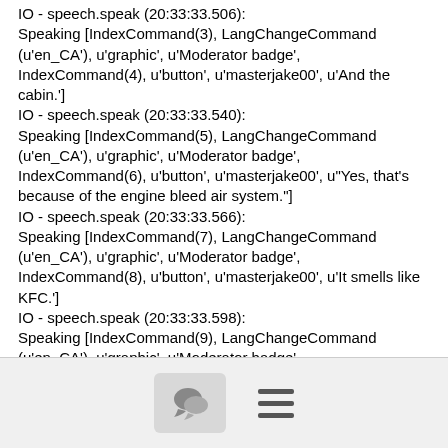IO - speech.speak (20:33:33.506):
Speaking [IndexCommand(3), LangChangeCommand (u'en_CA'), u'graphic', u'Moderator badge', IndexCommand(4), u'button', u'masterjake00', u'And the cabin.']
IO - speech.speak (20:33:33.540):
Speaking [IndexCommand(5), LangChangeCommand (u'en_CA'), u'graphic', u'Moderator badge', IndexCommand(6), u'button', u'masterjake00', u"Yes, that's because of the engine bleed air system."]
IO - speech.speak (20:33:33.566):
Speaking [IndexCommand(7), LangChangeCommand (u'en_CA'), u'graphic', u'Moderator badge', IndexCommand(8), u'button', u'masterjake00', u'It smells like KFC.']
IO - speech.speak (20:33:33.598):
Speaking [IndexCommand(9), LangChangeCommand (u'en_CA'), u'graphic', u'Moderator badge', IndexCommand(10), u'button', u'masterjake00', u'Burning hair is awful.']
IO - inputCore.InputManager.executeGesture (20:33:33.618):
Input: kb(laptop):shift+f
[Figure (screenshot): Footer bar with a chat/speech bubble icon button on the left and a hamburger menu icon on the right, on a light gray background.]